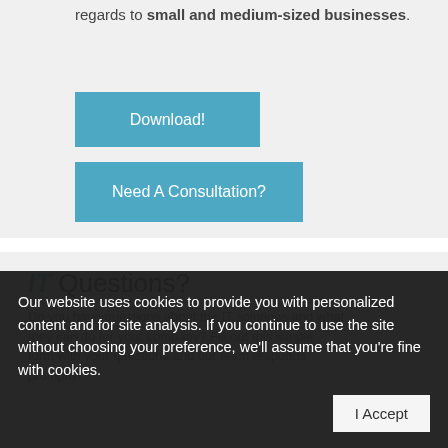regards to small and medium-sized businesses.
Download!
Need A Consultation?
IT Questions?
Do you have questions about the IT solutions and what they can do for your company? Fill out this simple form with your questions and our team responds promptly!
Our website uses cookies to provide you with personalized content and for site analysis. If you continue to use the site without choosing your preference, we'll assume that you're fine with cookies.
I Accept